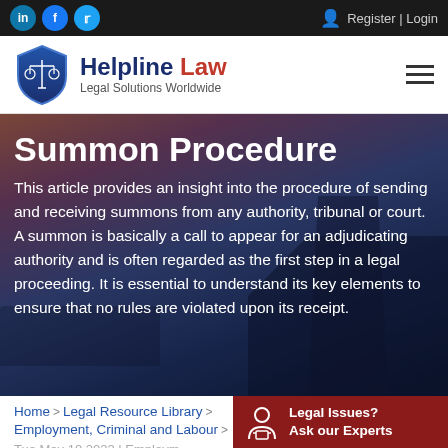LinkedIn | Facebook | Twitter | Register | Login
[Figure (logo): Helpline Law shield logo with scales of justice icon]
Helpline Law - Legal Solutions Worldwide
[Figure (photo): Background photo of a Mediterranean coastal town (Santorini-like) at dusk with blue domes and buildings on cliffs]
Summon Procedure
This article provides an insight into the procedure of sending and receiving summons from any authority, tribunal or court. A summon is basically a call to appear for an adjudicating authority and is often regarded as the first step in a legal proceeding. It is essential to understand its key elements to ensure that no rules are violated upon its receipt.
Home > Legal Resource Library > Employment, Criminal and Labour >
Tue May 10 2022 | Employm
Legal Issues? Ask our Experts